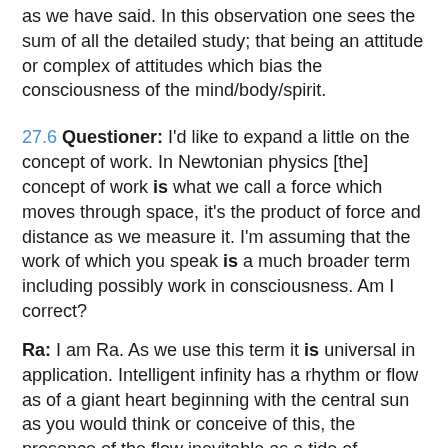as we have said. In this observation one sees the sum of all the detailed study; that being an attitude or complex of attitudes which bias the consciousness of the mind/body/spirit.
27.6 Questioner: I'd like to expand a little on the concept of work. In Newtonian physics [the] concept of work is what we call a force which moves through space, it's the product of force and distance as we measure it. I'm assuming that the work of which you speak is a much broader term including possibly work in consciousness. Am I correct?
Ra: I am Ra. As we use this term it is universal in application. Intelligent infinity has a rhythm or flow as of a giant heart beginning with the central sun as you would think or conceive of this, the presence of the flow inevitable as a tide of beingness without polarity, without finity; the vast